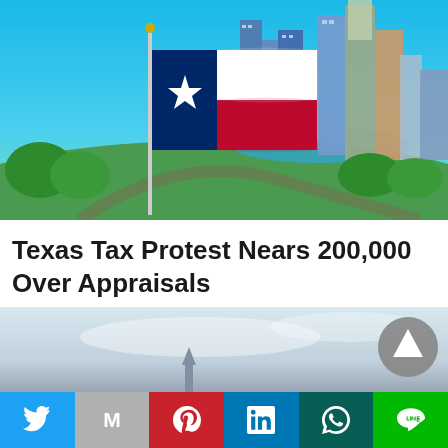[Figure (photo): Aerial photo of Austin Texas skyline with the Texas state flag (blue, white, red with lone star) flying prominently in the foreground, green parkland and waterway visible, modern skyscrapers in the background under a bright blue sky.]
Texas Tax Protest Nears 200,000 Over Appraisals
[Figure (photo): Partial second image showing a hazy sky with a tall spire or monument visible at the bottom, partially cut off. A grey circular scroll-to-top button overlays the top-right corner.]
[Figure (infographic): Social media share bar at the bottom with six colored buttons: Twitter (blue bird icon), Gmail/Email (grey M icon), Pinterest (red P icon), LinkedIn (blue in icon), WhatsApp (dark teal phone icon), Line (green chat icon).]